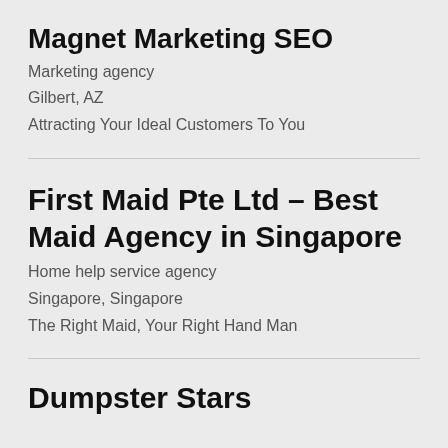Magnet Marketing SEO
Marketing agency
Gilbert, AZ
Attracting Your Ideal Customers To You
First Maid Pte Ltd – Best Maid Agency in Singapore
Home help service agency
Singapore, Singapore
The Right Maid, Your Right Hand Man
Dumpster Stars